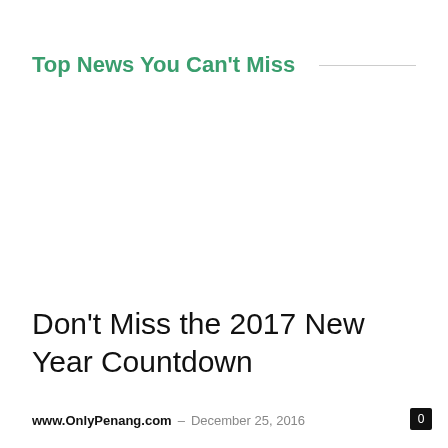Top News You Can't Miss
Don't Miss the 2017 New Year Countdown
www.OnlyPenang.com – December 25, 2016
0